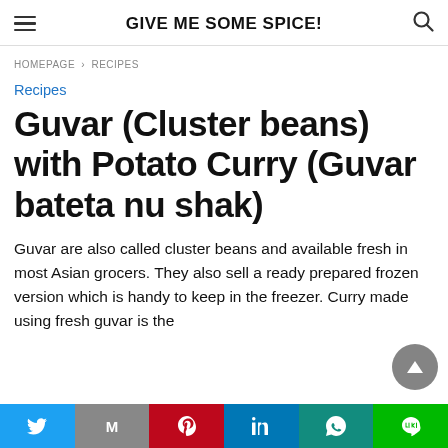GIVE ME SOME SPICE!
HOMEPAGE › RECIPES
Recipes
Guvar (Cluster beans) with Potato Curry (Guvar bateta nu shak)
Guvar are also called cluster beans and available fresh in most Asian grocers.  They also sell a ready prepared frozen version which is handy to keep in the freezer.  Curry made using fresh guvar is the